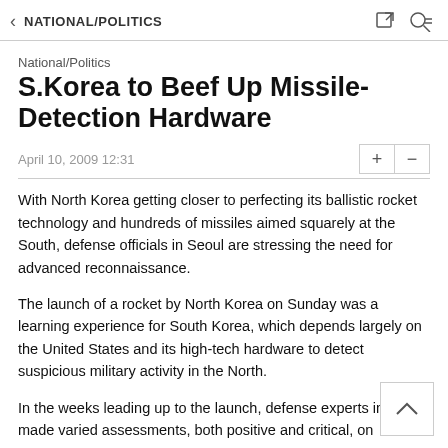NATIONAL/POLITICS
National/Politics
S.Korea to Beef Up Missile-Detection Hardware
April 10, 2009 12:31
With North Korea getting closer to perfecting its ballistic rocket technology and hundreds of missiles aimed squarely at the South, defense officials in Seoul are stressing the need for advanced reconnaissance.
The launch of a rocket by North Korea on Sunday was a learning experience for South Korea, which depends largely on the United States and its high-tech hardware to detect suspicious military activity in the North.
In the weeks leading up to the launch, defense experts in Seoul made varied assessments, both positive and critical, on